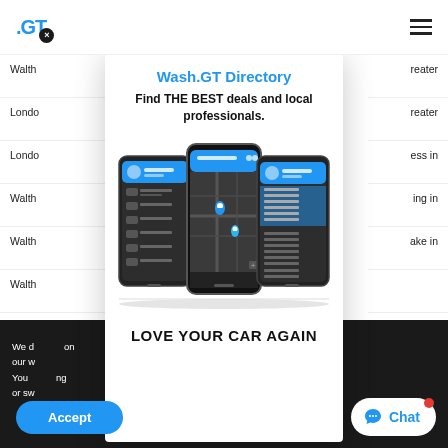.GT × (logo) — hamburger menu
Walth  Greater
Londo  Greater
Londo  ess in
Walth  ing in
Walth  ake in
Walth
Wash.GT Directory
Find THE BEST deals and local professionals.
[Figure (screenshot): Three smartphones showing the Wash.GT app interface: left phone shows a profile/menu list, center phone shows a map view with location pins, right phone shows another menu/list view. All phones have blue headers.]
LOVE YOUR CAR AGAIN
We d  on
our w
You  ng
or sw
Accept
Chat